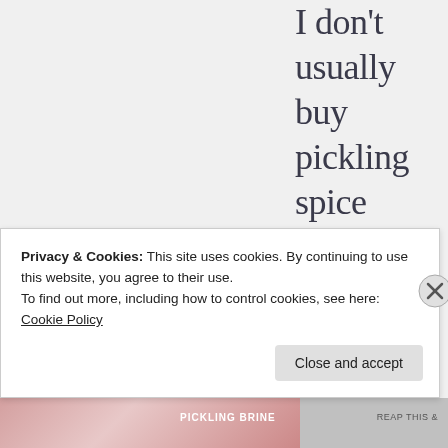I don't usually buy pickling spice because I have SO many spices
Privacy & Cookies: This site uses cookies. By continuing to use this website, you agree to their use.
To find out more, including how to control cookies, see here:
Cookie Policy
Close and accept